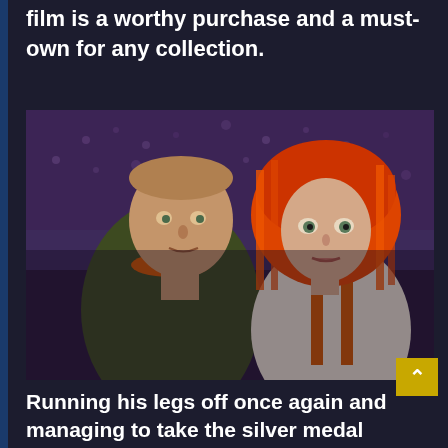film is a worthy purchase and a must-own for any collection.
[Figure (photo): Movie still from The Fifth Element showing two characters, a man in a dark jacket with orange collar trim and a woman with bright orange/red bob haircut holding up a Multi Pass card.]
Running his legs off once again and managing to take the silver medal position in second place this week, we once again find that lovable Sega videogame character 'Sonic